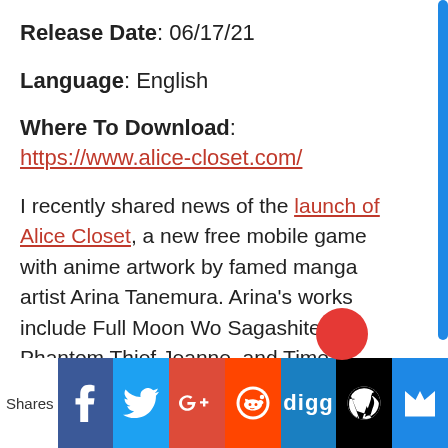Release Date: 06/17/21
Language: English
Where To Download: https://www.alice-closet.com/
I recently shared news of the launch of Alice Closet, a new free mobile game with anime artwork by famed manga artist Arina Tanemura. Arina's works include Full Moon Wo Sagashite, Phantom Thief Jeanne, and Time Stranger Kyoko, just to name a few popular shoujo manga by this artist.
I have been playing the game since launch
Shares [Facebook] [Twitter] [Google+] [Reddit] [Digg] [WordPress] [Crown]